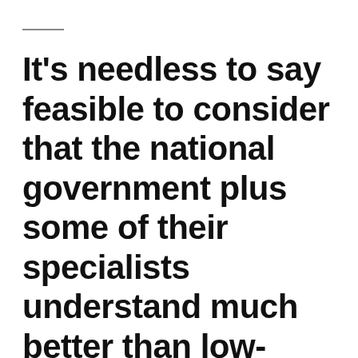It's needless to say feasible to consider that the national government plus some of their specialists understand much better than low-income people who have bad credit. I do believe that is merely arrogance